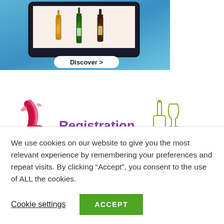[Figure (illustration): Advertisement banner showing a tablet/digital device displaying three bottles of spirits/wine (amber, green, dark), with a 'Discover >' button, set against a blue gradient background.]
[Figure (illustration): Wine tasting event banner showing a wine decanter pouring red wine on the left, purple text reading 'Registration for 2021', and olive/yellow outline icons of a wine bottle and glass with decorative lines, with partial 'Tasting' text in olive color.]
We use cookies on our website to give you the most relevant experience by remembering your preferences and repeat visits. By clicking “Accept”, you consent to the use of ALL the cookies.
Cookie settings
ACCEPT